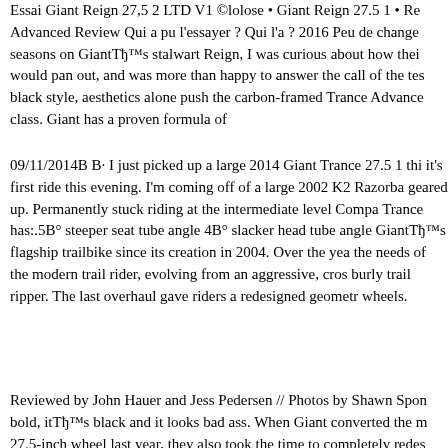Essai Giant Reign 27,5 2 LTD V1 ©lolose • Giant Reign 27.5 1 • Advanced Review Qui a pu l'essayer ? Qui l'a ? 2016 Peu de change seasons on GiantвЂ™s stalwart Reign, I was curious about how the would pan out, and was more than happy to answer the call of the te black style, aesthetics alone push the carbon-framed Trance Advance class. Giant has a proven formula of
09/11/2014В В· I just picked up a large 2014 Giant Trance 27.5 1 thi it's first ride this evening. I'm coming off of a large 2002 K2 Razorba geared up. Permanently stuck riding at the intermediate level Compa Trance has:.5В° steeper seat tube angle 4В° slacker head tube angle GiantвЂ™s flagship trailbike since its creation in 2004. Over the ye the needs of the modern trail rider, evolving from an aggressive, cro burly trail ripper. The last overhaul gave riders a redesigned geometr wheels.
Reviewed by John Hauer and Jess Pedersen // Photos by Shawn Spo bold, itвЂ™s black and it looks bad ass. When Giant converted the 27.5-inch wheel last year, they also took the time to completely rede Enduro craze (and no-doubt their own squad of shredders), the ro